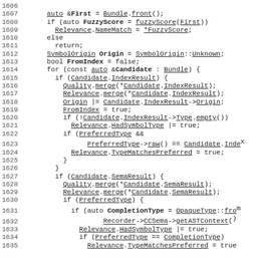[Figure (screenshot): Source code listing lines 1606-1635 of a C++ file showing code related to fuzzy scoring, symbol origin, candidate index/sema result merging, and relevance tracking.]